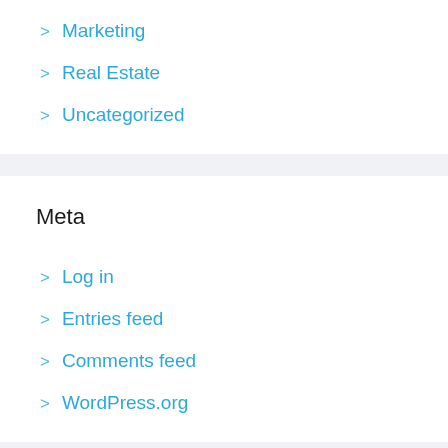> Marketing
> Real Estate
> Uncategorized
Meta
> Log in
> Entries feed
> Comments feed
> WordPress.org